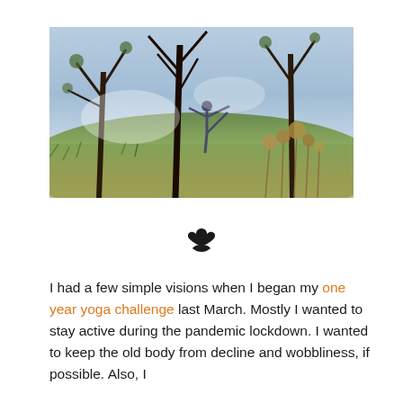[Figure (photo): A person performing a yoga balance pose (tree/dancer pose) outdoors in an orchard or park, with bare-branched trees and wild grasses/seed heads in the foreground. Overcast sky in background.]
[Figure (illustration): Small black lotus flower icon/symbol used as a decorative divider]
I had a few simple visions when I began my one year yoga challenge last March.  Mostly I wanted to stay active during the pandemic lockdown.  I wanted to keep the old body from decline and wobbliness, if possible.  Also, I